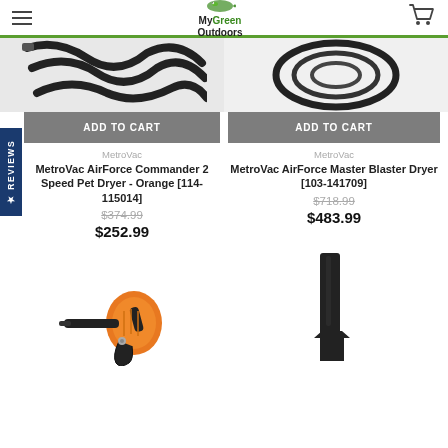MyGreen Outdoors
[Figure (photo): Partial view of black hose/coil product image on left column, cut off at top]
[Figure (photo): Partial view of black coil product image on right column, cut off at top]
ADD TO CART
ADD TO CART
MetroVac
MetroVac
MetroVac AirForce Commander 2 Speed Pet Dryer - Orange [114-115014]
$374.99
$252.99
MetroVac AirForce Master Blaster Dryer [103-141709]
$718.99
$483.99
[Figure (photo): Orange and black handheld blower/dryer product image, bottom left]
[Figure (photo): Black nozzle attachment product image, bottom right]